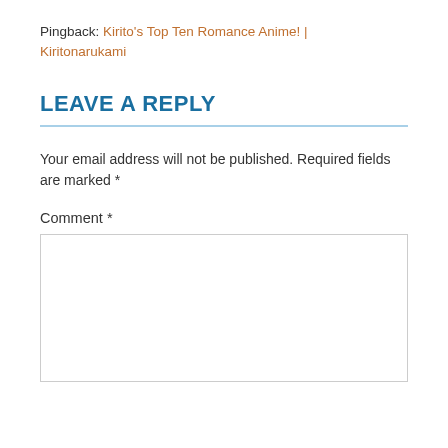Pingback: Kirito's Top Ten Romance Anime! | Kiritonarukami
LEAVE A REPLY
Your email address will not be published. Required fields are marked *
Comment *